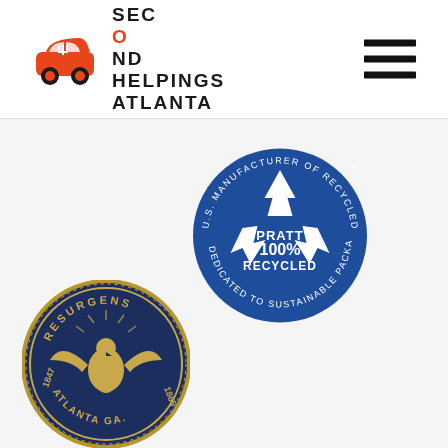[Figure (logo): Second Helpings Atlanta logo — red car/food icon with the text SECOND HELPINGS ATLANTA in bold black letters]
[Figure (logo): Hamburger menu icon — three horizontal black bars]
[Figure (logo): Pratt 100% Recycled circular badge — blue circle with white recycling arrow symbol, text: U.S. MANUFACTURER OF RECYCLED PAPER, PRATT 100% RECYCLED, DEDICATED TO SUSTAINABLE PACKAGING]
[Figure (logo): City of Atlanta Resurgens seal — dark blue and gold circular seal with phoenix/eagle, text: RESURGENS, ATLANTA GA, 1847 1865]